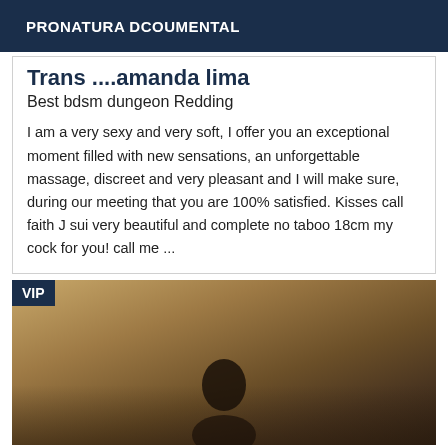PRONATURA DCOUMENTAL
Trans ....amanda lima
Best bdsm dungeon Redding
I am a very sexy and very soft, I offer you an exceptional moment filled with new sensations, an unforgettable massage, discreet and very pleasant and I will make sure, during our meeting that you are 100% satisfied. Kisses call faith J sui very beautiful and complete no taboo 18cm my cock for you! call me ...
[Figure (photo): A dimly lit photo with a VIP badge in the top-left corner. The image shows a dark brownish background with a faint silhouette of a person's head visible at the bottom center.]